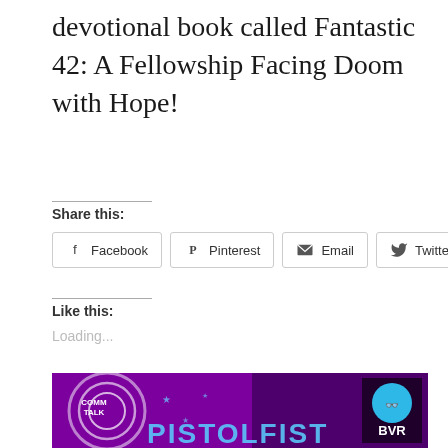devotional book called Fantastic 42: A Fellowship Facing Doom with Hope!
Share this:
[Figure (screenshot): Social share buttons: Facebook, Pinterest, Email, Twitter]
Like this:
Loading...
[Figure (photo): Comm Talk Pistolfist banner image with BVR logo on purple background]